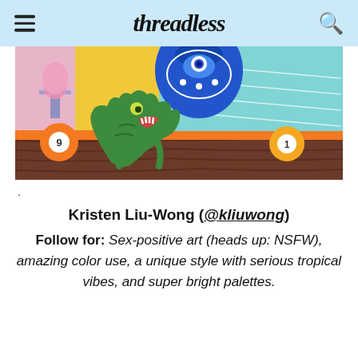Threadless
[Figure (illustration): Colorful painting featuring a green cartoon alligator/dinosaur character in a billiard/pool room setting with pool balls numbered 9 and 1, a decorative blue vase, and colorful retro furniture including a pink lamp and yellow/orange walls with geometric shapes]
.
Kristen Liu-Wong (@kliuwong)
Follow for: Sex-positive art (heads up: NSFW), amazing color use, a unique style with serious tropical vibes, and super bright palettes.